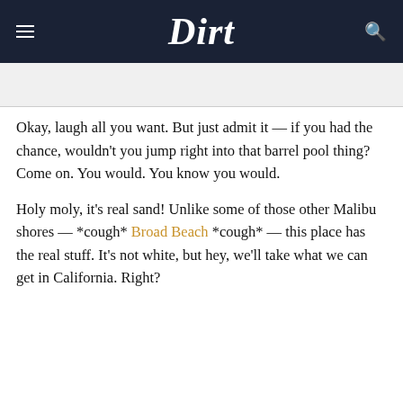Dirt
Okay, laugh all you want. But just admit it — if you had the chance, wouldn't you jump right into that barrel pool thing? Come on. You would. You know you would.
Holy moly, it's real sand! Unlike some of those other Malibu shores — *cough* Broad Beach *cough* — this place has the real stuff. It's not white, but hey, we'll take what we can get in California. Right?